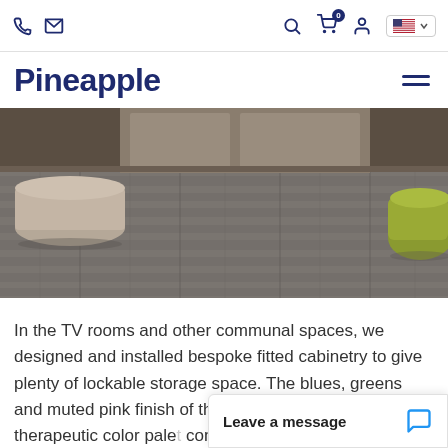Pineapple — navigation bar with phone, email icons, search, cart (0), user, US flag
Pineapple
[Figure (photo): Interior room photo showing grey wood-effect vinyl plank flooring with a cylindrical beige pouf/ottoman on the left, beige cabinetry in background, and a yellow-green cushion/pouf on the right side.]
In the TV rooms and other communal spaces, we designed and installed bespoke fitted cabinetry to give plenty of lockable storage space. The blues, greens and muted pink finish of the cabinetry follows the therapeutic color pale[tte] complemented by the